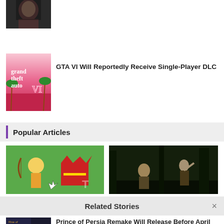[Figure (photo): Dark photo thumbnail at top of page showing a person with dark hair]
[Figure (photo): GTA VI game cover art thumbnail with pink/red background and GTA VI logo]
GTA VI Will Reportedly Receive Single-Player DLC
Popular Articles
[Figure (photo): Animated game screenshot showing an archer character with bow]
[Figure (photo): Dark game screenshot showing characters in a forested environment]
Related Stories
[Figure (photo): Prince of Persia game cover art thumbnail]
Prince of Persia Remake Will Release Before April 2022